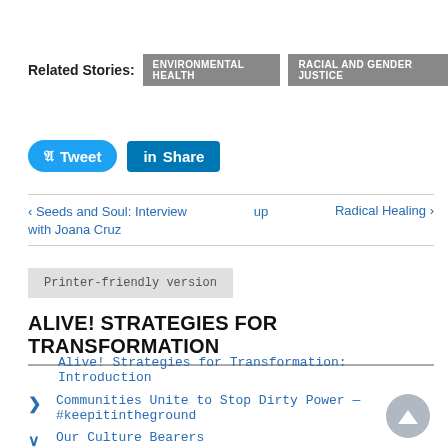Related Stories: ENVIRONMENTAL HEALTH  RACIAL AND GENDER JUSTICE
[Figure (screenshot): Tweet and Share buttons (Twitter and LinkedIn social sharing buttons)]
‹ Seeds and Soul: Interview with Joana Cruz   up   Radical Healing ›
Printer-friendly version
ALIVE! STRATEGIES FOR TRANSFORMATION
Alive! Strategies for Transformation: Introduction
Communities Unite to Stop Dirty Power — #keepitintheground
Our Culture Bearers
I Am San Francisco